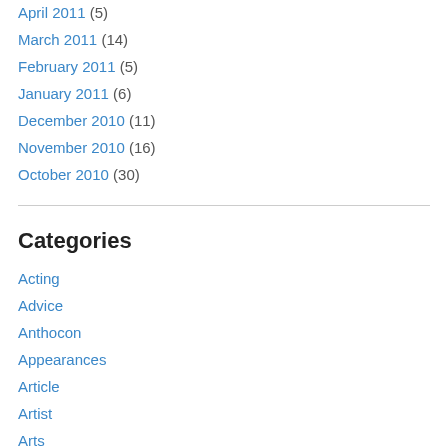April 2011 (5)
March 2011 (14)
February 2011 (5)
January 2011 (6)
December 2010 (11)
November 2010 (16)
October 2010 (30)
Categories
Acting
Advice
Anthocon
Appearances
Article
Artist
Arts
Artwork
Author